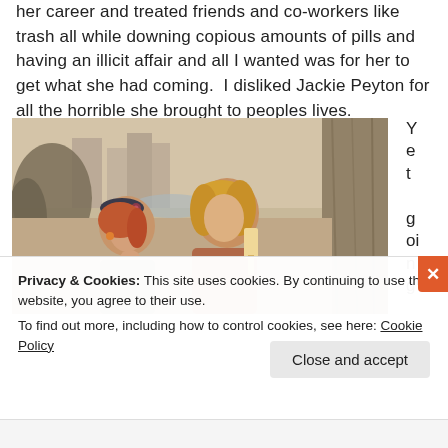her career and treated friends and co-workers like trash all while downing copious amounts of pills and having an illicit affair and all I wanted was for her to get what she had coming.  I disliked Jackie Peyton for all the horrible she brought to peoples lives.
[Figure (photo): A screenshot from a TV show showing two women outdoors. One woman with auburn hair and a dark beret leans on her hand looking displeased; the other, a blonde woman, holds an ice cream bar. Trees and a city skyline are visible in the background.]
Yet going
Privacy & Cookies: This site uses cookies. By continuing to use this website, you agree to their use.
To find out more, including how to control cookies, see here: Cookie Policy
Close and accept